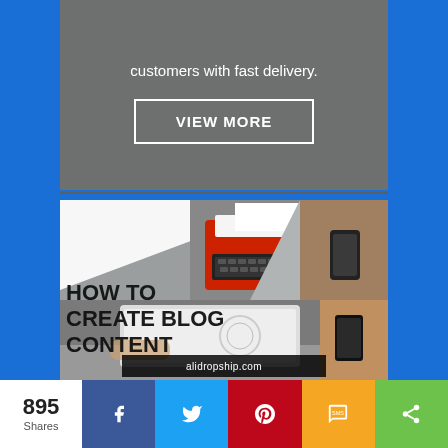customers with fast delivery.
VIEW MORE
[Figure (illustration): Blog content strategy article thumbnail showing a red typewriter, person using smartphone, and person using tablet with text overlay 'HOW TO CREATE BLOG CONTENT' and watermark 'alidropship.com']
Blog Content Strategy: How To Create It In Just 7 Steps?
895 Shares | Facebook | Twitter | Pinterest | SMS | Share